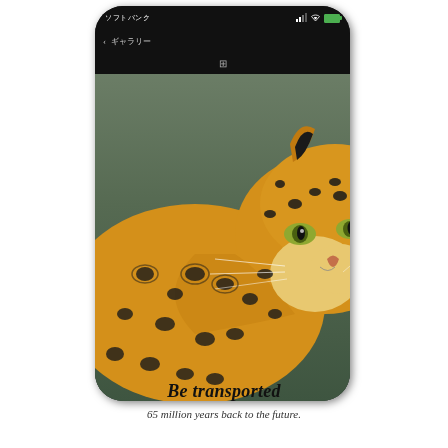[Figure (screenshot): A smartphone (Android) displaying a close-up photo of a leopard's face on the screen. The phone has a dark/black bezel, a status bar at the top showing carrier name and battery/signal icons, a navigation bar, and an icon toolbar. The leopard photo fills most of the screen showing the animal's spotted coat, face, and eyes against a dark green/olive background.]
Be transported
65 million years back to the future.